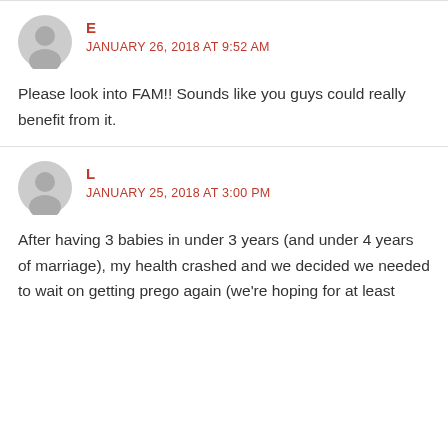E
JANUARY 26, 2018 AT 9:52 AM
Please look into FAM!! Sounds like you guys could really benefit from it.
L
JANUARY 25, 2018 AT 3:00 PM
After having 3 babies in under 3 years (and under 4 years of marriage), my health crashed and we decided we needed to wait on getting prego again (we're hoping for at least